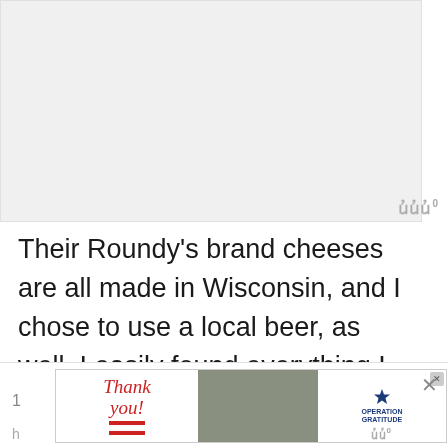[Figure (photo): Light gray image placeholder area at top of page]
Their Roundy's brand cheeses are all made in Wisconsin, and I chose to use a local beer, as well. I easily found everything I needed to make these yummy muffins….and now I have all the ingredients to make them again and aga
[Figure (infographic): Bottom advertisement banner: 'Thank you!' handwritten text with a star and American flag motif, military personnel photo, Operation Gratitude logo]